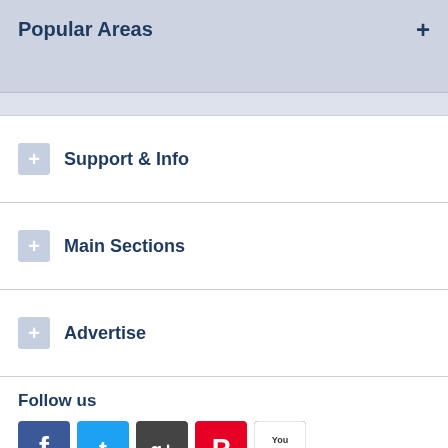Popular Areas
Support & Info
Main Sections
Advertise
Follow us
[Figure (other): Social media icons: Facebook, Twitter, Google+, Pinterest, YouTube]
© 2007-2022 LetsPortal Limited   All Rights Reserved.   Lets Portal Ltd